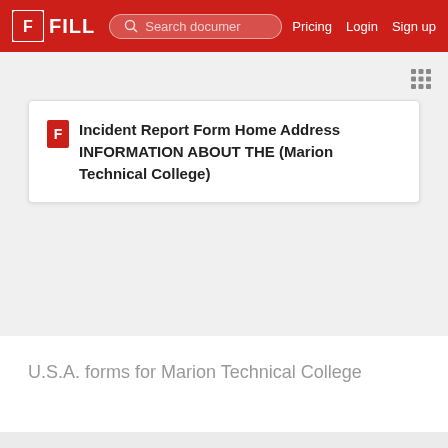FILL | Search documer | Pricing | Login | Sign up
Incident Report Form Home Address INFORMATION ABOUT THE (Marion Technical College)
U.S.A. forms for Marion Technical College